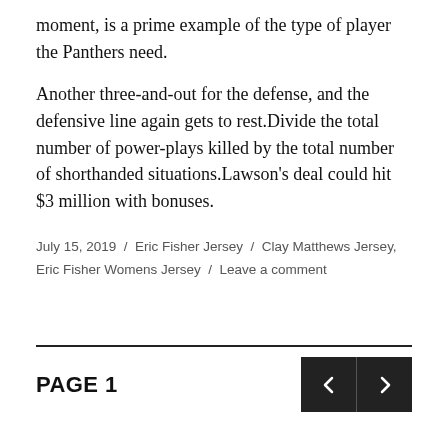moment, is a prime example of the type of player the Panthers need.
Another three-and-out for the defense, and the defensive line again gets to rest.Divide the total number of power-plays killed by the total number of shorthanded situations.Lawson’s deal could hit $3 million with bonuses.
July 15, 2019 / Eric Fisher Jersey / Clay Matthews Jersey, Eric Fisher Womens Jersey / Leave a comment
PAGE 1